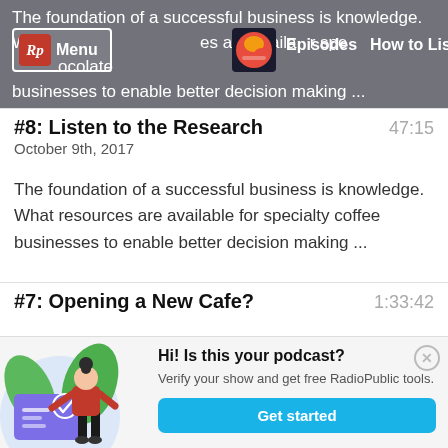The foundation of a successful business is knowledge. What resources are available for specialty coffee businesses to enable better decision making ...
#8: Listen to the Research
October 9th, 2017   47:15
The foundation of a successful business is knowledge. What resources are available for specialty coffee businesses to enable better decision making ...
#7: Opening a New Cafe?   1:33:42
[Figure (illustration): Popup dialog with illustration of a person holding a card with a checkmark. Text reads: Hi! Is this your podcast? Verify your show and get free RadioPublic tools. Button: Get started]
Hi! Is this your podcast? Verify your show and get free RadioPublic tools.